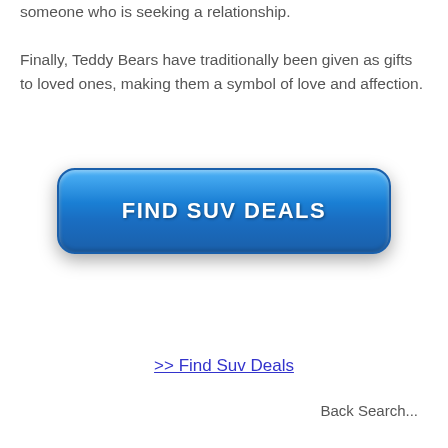someone who is seeking a relationship. Finally, Teddy Bears have traditionally been given as gifts to loved ones, making them a symbol of love and affection.
[Figure (other): A blue rounded rectangular button with the text 'FIND SUV DEALS' in bold white capital letters]
>> Find Suv Deals
Back Search...